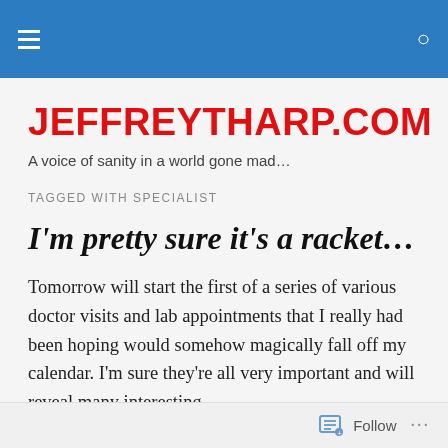JEFFREYTHARP.COM — navigation bar with menu and search icons
JEFFREYTHARP.COM
A voice of sanity in a world gone mad…
TAGGED WITH SPECIALIST
I'm pretty sure it's a racket…
Tomorrow will start the first of a series of various doctor visits and lab appointments that I really had been hoping would somehow magically fall off my calendar. I'm sure they're all very important and will reveal many interesting
Follow